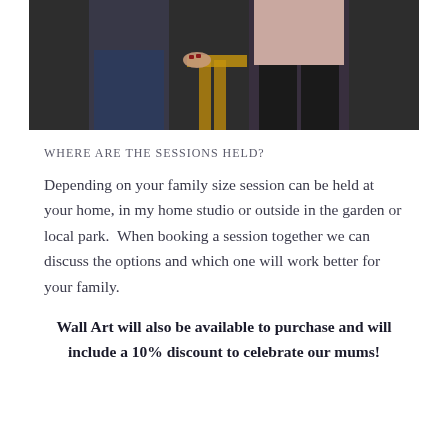[Figure (photo): Two people standing together in front of a dark background, photographed from waist down showing their clothing and hands resting on a wooden stool]
WHERE ARE THE SESSIONS HELD?
Depending on your family size session can be held at your home, in my home studio or outside in the garden or local park.  When booking a session together we can discuss the options and which one will work better for your family.
Wall Art will also be available to purchase and will include a 10% discount to celebrate our mums!